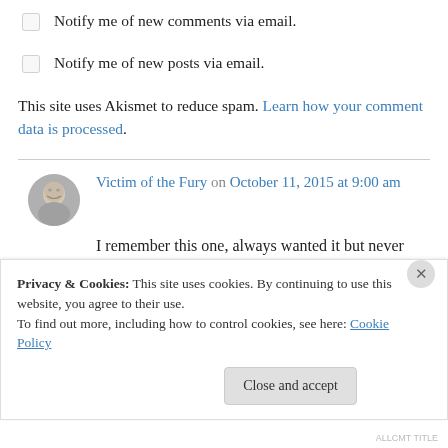Notify me of new comments via email.
Notify me of new posts via email.
This site uses Akismet to reduce spam. Learn how your comment data is processed.
Victim of the Fury on October 11, 2015 at 9:00 am
I remember this one, always wanted it but never got it for inexplicable reasons. I have Jailbait and Flying J in Lock on a compilation but clearly need
Privacy & Cookies: This site uses cookies. By continuing to use this website, you agree to their use.
To find out more, including how to control cookies, see here: Cookie Policy
Close and accept